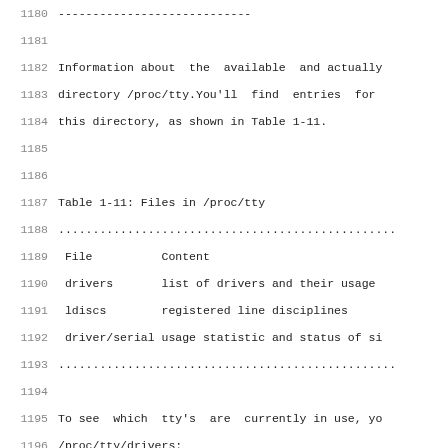----------------------------
Information about  the  available  and actually
directory /proc/tty.You'll  find  entries  for
this directory, as shown in Table 1-11.
Table 1-11: Files in /proc/tty
| File | Content |
| --- | --- |
| drivers | list of drivers and their usage |
| ldiscs | registered line disciplines |
| driver/serial | usage statistic and status of si |
To see  which  tty's  are  currently in use, yo
/proc/tty/drivers:
> cat /proc/tty/drivers
pty_slave        /dev/pts     136   0-25
pty_master       /dev/ptm     128   0-25
pty_slave        /dev/ttyp      3   0-25